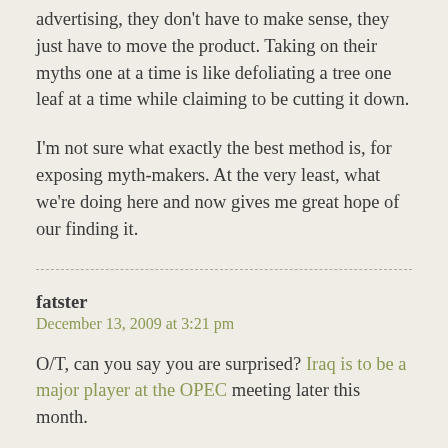advertising, they don't have to make sense, they just have to move the product. Taking on their myths one at a time is like defoliating a tree one leaf at a time while claiming to be cutting it down.
I'm not sure what exactly the best method is, for exposing myth-makers. At the very least, what we're doing here and now gives me great hope of our finding it.
fatster
December 13, 2009 at 3:21 pm
O/T, can you say you are surprised? Iraq is to be a major player at the OPEC meeting later this month.